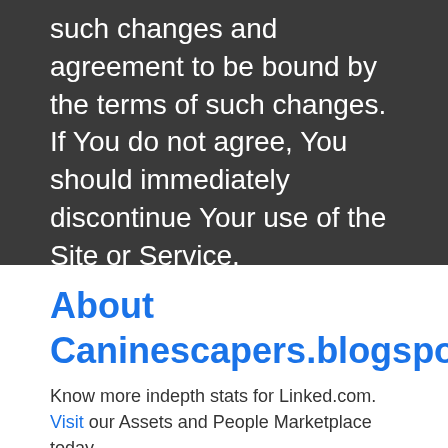such changes and agreement to be bound by the terms of such changes. If You do not agree, You should immediately discontinue Your use of the Site or Service.
About Caninescapers.blogspot.com
Know more indepth stats for Linked.com. Visit our Assets and People Marketplace today.
Other Assets